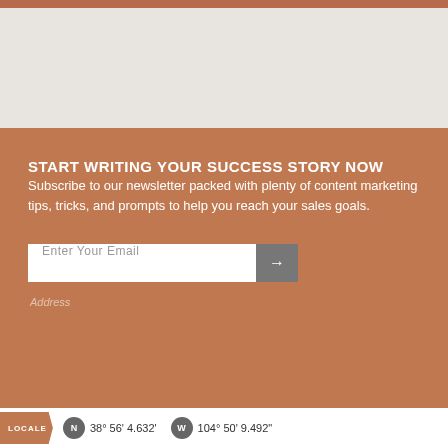START WRITING YOUR SUCCESS STORY NOW
Subscribe to our newsletter packed with plenty of content marketing tips, tricks, and prompts to help you reach your sales goals.
Enter Your Email
Address
LOCALE  N  38° 56' 4.632'  W  104° 50' 9.492"